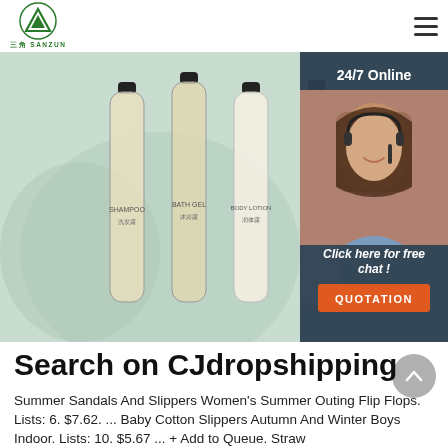[Figure (logo): Sanzun brand logo — green triangular/mountain icon with company name below]
[Figure (photo): Hero banner showing three small hotel-amenity bottles (shampoo, bath gel, body lotion) with botanical label designs and black caps, on a soft green background, overlaid with a 24/7 online chat widget showing a female customer service agent wearing a headset]
Search on CJdropshipping
Summer Sandals And Slippers Women's Summer Outing Flip Flops. Lists: 6. $7.62. ... Baby Cotton Slippers Autumn And Winter Boys Indoor. Lists: 10. $5.67 ... + Add to Queue. Straw